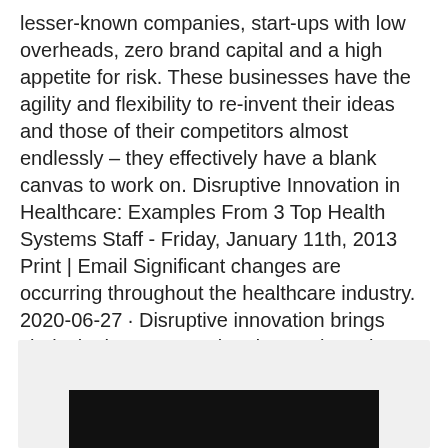lesser-known companies, start-ups with low overheads, zero brand capital and a high appetite for risk. These businesses have the agility and flexibility to re-invent their ideas and those of their competitors almost endlessly – they effectively have a blank canvas to work on. Disruptive Innovation in Healthcare: Examples From 3 Top Health Systems Staff - Friday, January 11th, 2013 Print | Email Significant changes are occurring throughout the healthcare industry. 2020-06-27 · Disruptive innovation brings clarity in the way creative destruction takes place around a new technology core.
[Figure (photo): A dark/black rectangular image area at the bottom of the page, partially visible, set within a light gray background container.]